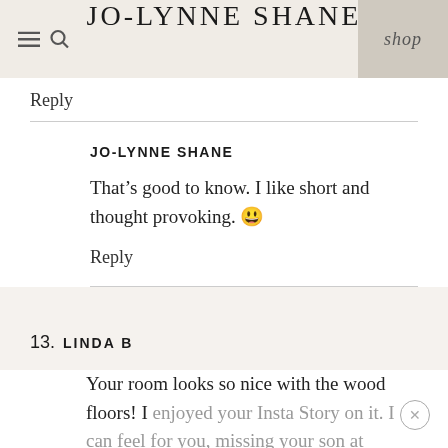JO-LYNNE SHANE | shop
Reply
JO-LYNNE SHANE
That’s good to know. I like short and thought provoking. 😀
Reply
13. LINDA B
Your room looks so nice with the wood floors!  I enjoyed your Insta Story on it. I can feel for you, missing your son at gatherings. Mine is finally going